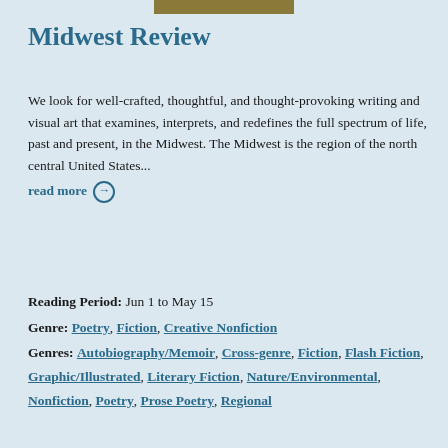Midwest Review
We look for well-crafted, thoughtful, and thought-provoking writing and visual art that examines, interprets, and redefines the full spectrum of life, past and present, in the Midwest. The Midwest is the region of the north central United States...
read more →
Reading Period:  Jun 1 to May 15
Genre:  Poetry, Fiction, Creative Nonfiction
Genres:  Autobiography/Memoir, Cross-genre, Fiction, Flash Fiction, Graphic/Illustrated, Literary Fiction, Nature/Environmental, Nonfiction, Poetry, Prose Poetry, Regional